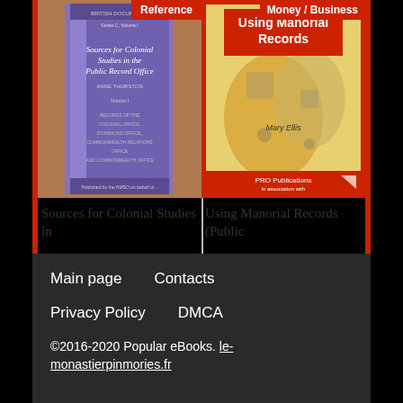[Figure (photo): Book cover: Sources for Colonial Studies in the Public Record Office (purple hardcover spine visible)]
Reference
Sources for Colonial Studies in
[Figure (photo): Book cover: Using Manorial Records (PRO Publications), showing a historical map illustration]
Money / Business
Using Manorial Records (Public
Main page   Contacts   Privacy Policy   DMCA   ©2016-2020 Popular eBooks. le-monastierpinmories.fr